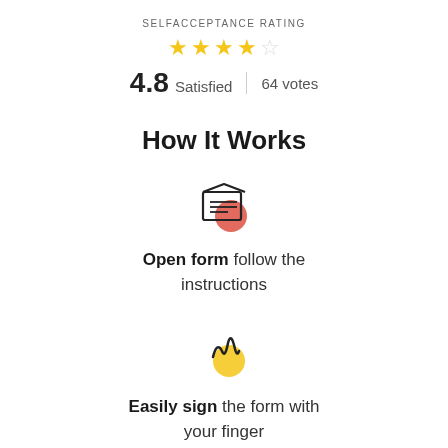SELFACCEPTANCE RATING
[Figure (other): 4 filled yellow stars and 1 empty star rating]
4.8 Satisfied | 64 votes
How It Works
[Figure (illustration): Open envelope icon with red circle accent]
Open form follow the instructions
[Figure (illustration): Signature/sign icon with yellow circle accent]
Easily sign the form with your finger